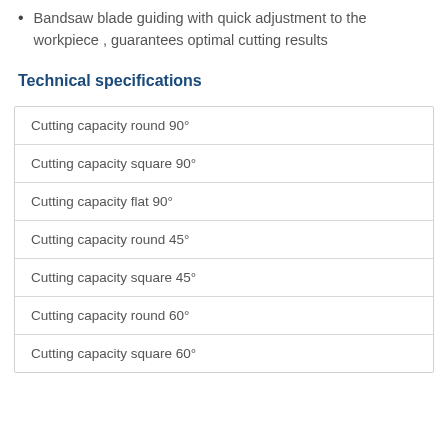Bandsaw blade guiding with quick adjustment to the workpiece , guarantees optimal cutting results
Technical specifications
| Cutting capacity round 90° |
| Cutting capacity square 90° |
| Cutting capacity flat 90° |
| Cutting capacity round 45° |
| Cutting capacity square 45° |
| Cutting capacity round 60° |
| Cutting capacity square 60° |